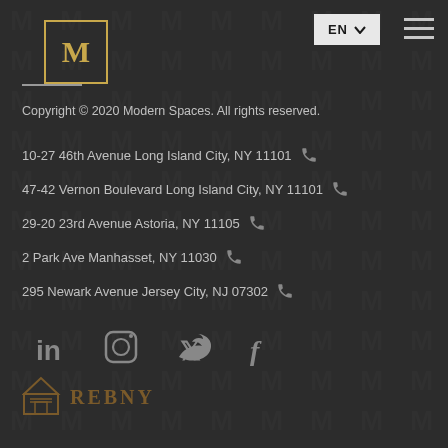[Figure (logo): Modern Spaces logo — gold M letter in a gold-bordered box]
EN ∨
[Figure (illustration): Hamburger menu icon (three horizontal lines)]
Copyright © 2020 Modern Spaces. All rights reserved.
10-27 46th Avenue Long Island City, NY 11101
47-42 Vernon Boulevard Long Island City, NY 11101
29-20 23rd Avenue Astoria, NY 11105
2 Park Ave Manhasset, NY 11030
295 Newark Avenue Jersey City, NJ 07302
[Figure (illustration): Social media icons: LinkedIn, Instagram, Twitter, Facebook]
[Figure (logo): REBNY logo — equal housing icon and REBNY text in gold]